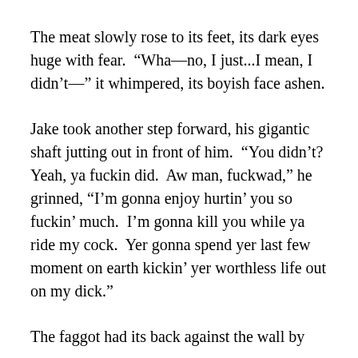The meat slowly rose to its feet, its dark eyes huge with fear.  “Wha—no, I just...I mean, I didn’t—” it whimpered, its boyish face ashen.
Jake took another step forward, his gigantic shaft jutting out in front of him.  “You didn’t? Yeah, ya fuckin did.  Aw man, fuckwad,” he grinned, “I’m gonna enjoy hurtin’ you so fuckin’ much.  I’m gonna kill you while ya ride my cock.  Yer gonna spend yer last few moment on earth kickin’ yer worthless life out on my dick.”
The faggot had its back against the wall by